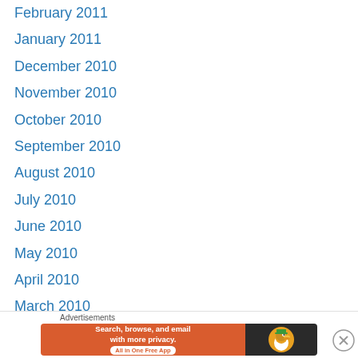February 2011
January 2011
December 2010
November 2010
October 2010
September 2010
August 2010
July 2010
June 2010
May 2010
April 2010
March 2010
February 2010
January 2010
December 2009
November 2009
[Figure (other): DuckDuckGo advertisement banner: 'Search, browse, and email with more privacy. All in One Free App' with DuckDuckGo duck logo on dark background]